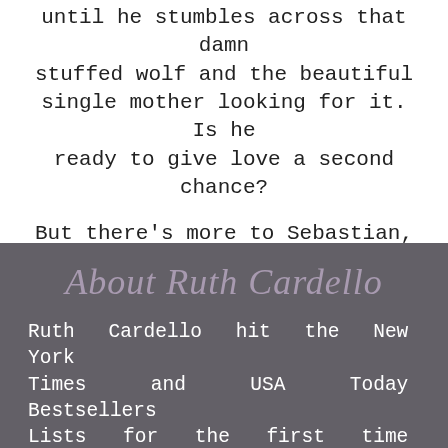until he stumbles across that damn stuffed wolf and the beautiful single mother looking for it. Is he ready to give love a second chance?
But there's more to Sebastian, his family, and his past than Heather knows. More than even Sebastian knows. Will the life they're building together be challenged when the truth is finally revealed?
About Ruth Cardello
Ruth Cardello hit the New York Times and USA Today Bestsellers Lists for the first time back in 2012. Millions of sales are evidence that her that her books